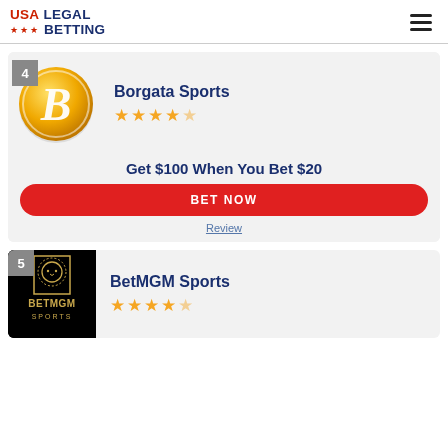USA LEGAL BETTING
4
[Figure (logo): Borgata Sports circular gold logo with stylized B]
Borgata Sports
★★★★★
Get $100 When You Bet $20
BET NOW
Review
5
[Figure (logo): BetMGM Sports logo on black background with lion]
BetMGM Sports
★★★★★